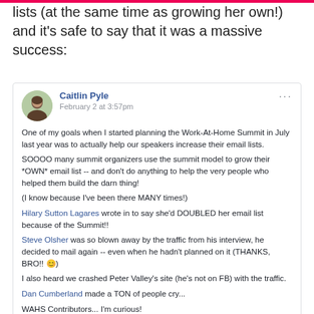lists (at the same time as growing her own!) and it's safe to say that it was a massive success:
[Figure (screenshot): Facebook post by Caitlin Pyle dated February 2 at 3:57pm. Post discusses goals of Work-At-Home Summit to help speakers grow email lists. Mentions Hilary Sutton Lagares doubling her email list, Steve Olsher mailing again due to traffic, crashing Peter Valley's site, Dan Cumberland making people cry, and asking WAHS Contributors what response/traffic they got from the Summit.]